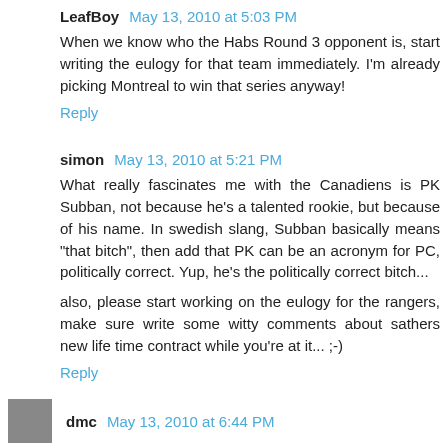LeafBoy May 13, 2010 at 5:03 PM
When we know who the Habs Round 3 opponent is, start writing the eulogy for that team immediately. I'm already picking Montreal to win that series anyway!
Reply
simon May 13, 2010 at 5:21 PM
What really fascinates me with the Canadiens is PK Subban, not because he's a talented rookie, but because of his name. In swedish slang, Subban basically means "that bitch", then add that PK can be an acronym for PC, politically correct. Yup, he's the politically correct bitch...
also, please start working on the eulogy for the rangers, make sure write some witty comments about sathers new life time contract while you're at it... ;-)
Reply
dmc May 13, 2010 at 6:44 PM